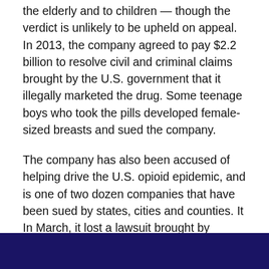the elderly and to children — though the verdict is unlikely to be upheld on appeal. In 2013, the company agreed to pay $2.2 billion to resolve civil and criminal claims brought by the U.S. government that it illegally marketed the drug. Some teenage boys who took the pills developed female-sized breasts and sued the company.
The company has also been accused of helping drive the U.S. opioid epidemic, and is one of two dozen companies that have been sued by states, cities and counties. It In March, it lost a lawsuit brought by Oklahoma and was ordered to pay $572 million for wrongfully marketing its pain drugs in the states.